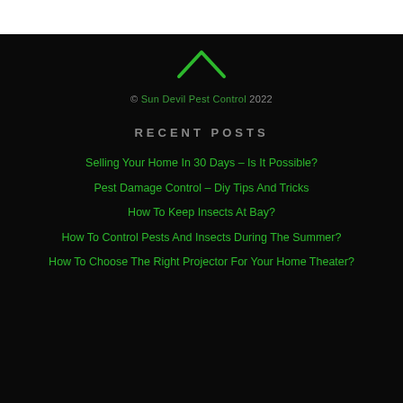[Figure (illustration): Green chevron/arrow pointing upward icon]
© Sun Devil Pest Control 2022
RECENT POSTS
Selling Your Home In 30 Days – Is It Possible?
Pest Damage Control – Diy Tips And Tricks
How To Keep Insects At Bay?
How To Control Pests And Insects During The Summer?
How To Choose The Right Projector For Your Home Theater?